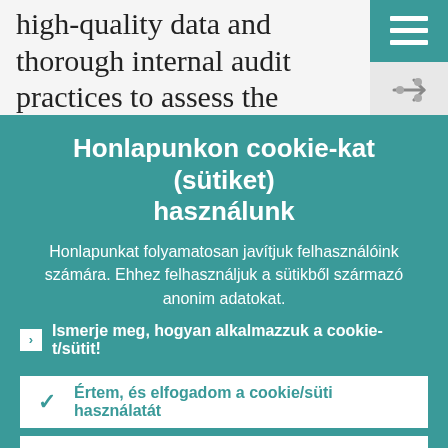high-quality data and thorough internal audit practices to assess the collateral and the quality of the credit line for each individual loan.
Honlapunkon cookie-kat (sütiket) használunk
Honlapunkat folyamatosan javítjuk felhasználóink számára. Ehhez felhasználjuk a sütikből származó anonim adatokat.
Ismerje meg, hogyan alkalmazzuk a cookie-t/sütit!
Értem, és elfogadom a cookie/süti használatát
Visszautasítom a cookie/süti használatát